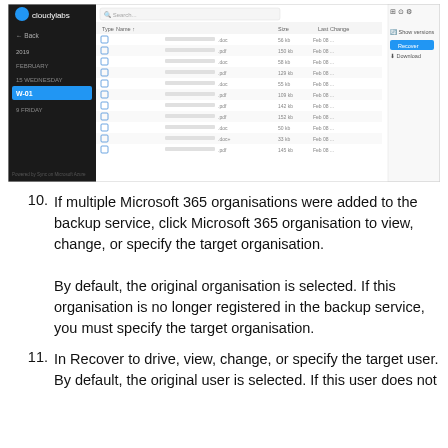[Figure (screenshot): Screenshot of a cloud backup application interface showing a file listing with columns for Type, Name, Size, and Last Change. Left sidebar shows a dark-themed navigation with dates including 2019, FEBRUARY, 15 WEDNESDAY, and W-01. Right panel shows file entries with document icons and various file sizes (56kb, 150kb, etc.) with dates Feb 08. Top right shows options for Show versions, Recover, and Download.]
If multiple Microsoft 365 organisations were added to the backup service, click Microsoft 365 organisation to view, change, or specify the target organisation.
By default, the original organisation is selected. If this organisation is no longer registered in the backup service, you must specify the target organisation.
In Recover to drive, view, change, or specify the target user.
By default, the original user is selected. If this user does not